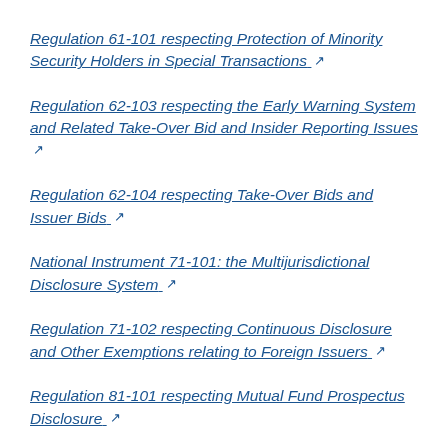Regulation 61-101 respecting Protection of Minority Security Holders in Special Transactions ↗
Regulation 62-103 respecting the Early Warning System and Related Take-Over Bid and Insider Reporting Issues ↗
Regulation 62-104 respecting Take-Over Bids and Issuer Bids ↗
National Instrument 71-101: the Multijurisdictional Disclosure System ↗
Regulation 71-102 respecting Continuous Disclosure and Other Exemptions relating to Foreign Issuers ↗
Regulation 81-101 respecting Mutual Fund Prospectus Disclosure ↗